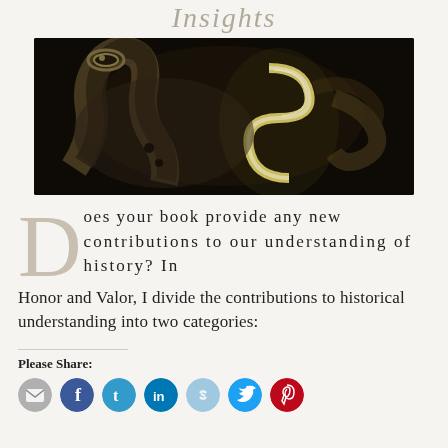Insights
[Figure (photo): Dark close-up photograph of a decorative sword or knife handle with an S-shaped metallic ornament glowing in gold/white against a dark background]
Does your book provide any new contributions to our understanding of history? In Honor and Valor, I divide the contributions to historical understanding into two categories:
Please Share:
[Figure (infographic): Row of social media share icon buttons: email (gray), Facebook (blue), Twitter/t (blue), LinkedIn (blue), share (light blue), Twitter bird (blue), Pinterest (red)]